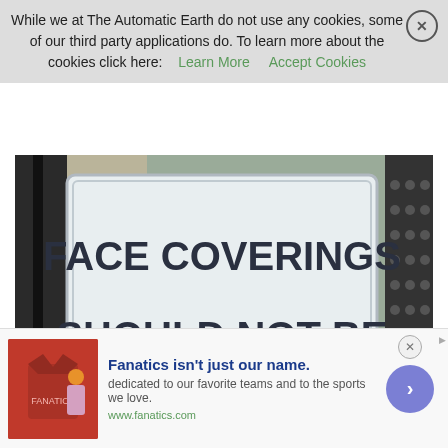While we at The Automatic Earth do not use any cookies, some of our third party applications do. To learn more about the cookies click here:  Learn More   Accept Cookies
[Figure (photo): A sign reading: FACE COVERINGS SHOULD NOT BE WORN IN THE WATER DUE TO INCREASED DROWNING RISK. The sign has wave graphics at the bottom in teal/blue tones. The photo is taken outdoors near a pool area.]
Fanatics isn't just our name. dedicated to our favorite teams and to the sports we love. www.fanatics.com